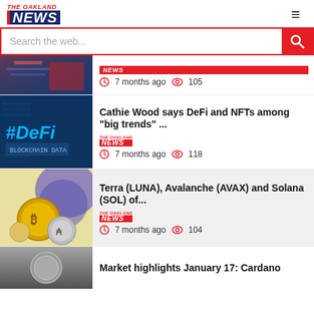THE OAKLAND NEWS
Search the web...
[Figure (photo): Dark tech/hacker themed image with red tones]
NEWS | 7 months ago | 105
[Figure (photo): #DeFi hashtag on dark blue digital background]
Cathie Wood says DeFi and NFTs among "big trends" ...
THE OAKLAND NEWS | 7 months ago | 118
[Figure (photo): Cryptocurrency coins (Bitcoin, Cardano) with purple background]
Terra (LUNA), Avalanche (AVAX) and Solana (SOL) of...
THE OAKLAND NEWS | 7 months ago | 104
[Figure (photo): Grayscale coin image]
Market highlights January 17: Cardano